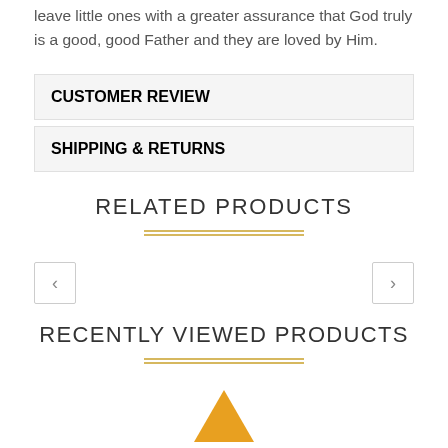leave little ones with a greater assurance that God truly is a good, good Father and they are loved by Him.
CUSTOMER REVIEW
SHIPPING & RETURNS
RELATED PRODUCTS
RECENTLY VIEWED PRODUCTS